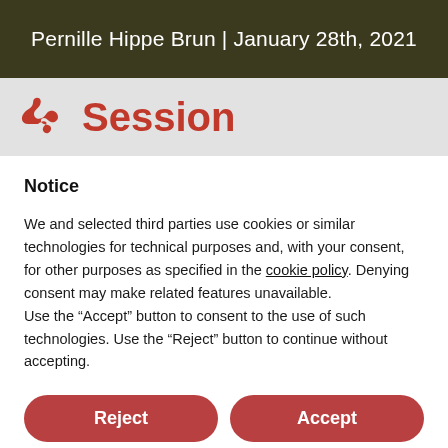Pernille Hippe Brun | January 28th, 2021
Session
Notice
We and selected third parties use cookies or similar technologies for technical purposes and, with your consent, for other purposes as specified in the cookie policy. Denying consent may make related features unavailable.
Use the "Accept" button to consent to the use of such technologies. Use the "Reject" button to continue without accepting.
Reject
Accept
Learn more and customize